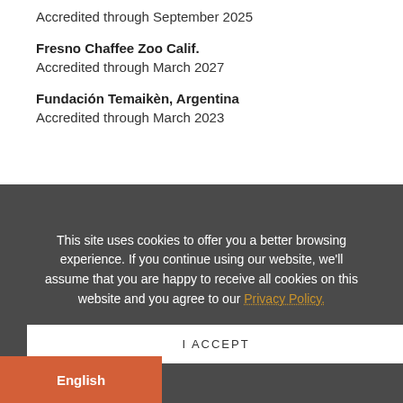Accredited through September 2025
Fresno Chaffee Zoo Calif.
Accredited through March 2027
Fundación Temaikèn, Argentina
Accredited through March 2023
This site uses cookies to offer you a better browsing experience. If you continue using our website, we'll assume that you are happy to receive all cookies on this website and you agree to our Privacy Policy.
I ACCEPT
English